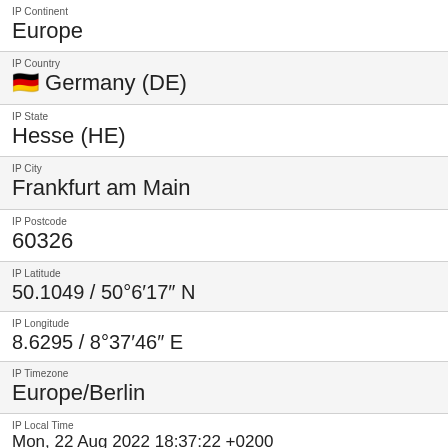IP Continent
Europe
IP Country
🇩🇪 Germany (DE)
IP State
Hesse (HE)
IP City
Frankfurt am Main
IP Postcode
60326
IP Latitude
50.1049 / 50°6′17″ N
IP Longitude
8.6295 / 8°37′46″ E
IP Timezone
Europe/Berlin
IP Local Time
Mon, 22 Aug 2022 18:37:22 +0200